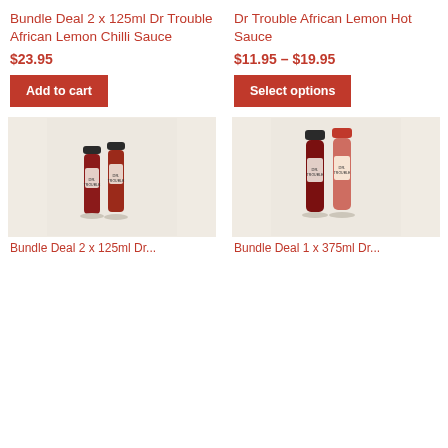Bundle Deal 2 x 125ml Dr Trouble African Lemon Chilli Sauce
$23.95
Add to cart
Dr Trouble African Lemon Hot Sauce
$11.95 – $19.95
Select options
[Figure (photo): Two small Dr Trouble hot sauce bottles on a light textured background]
[Figure (photo): Two Dr Trouble hot sauce bottles (one with dark cap, one with red cap) on a light textured background]
Bundle Deal 2 x 125ml Dr...
Bundle Deal 1 x 375ml Dr...